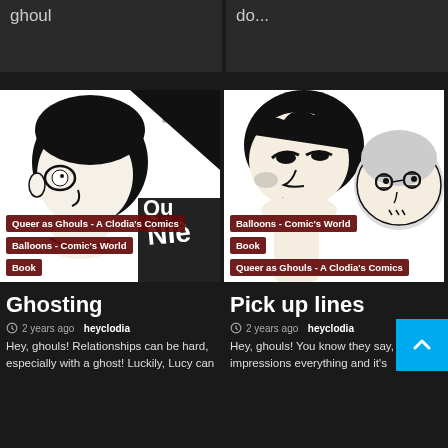ghoul
do...
[Figure (illustration): Black and white comic illustration of a character with glasses and short dark hair looking sideways, with dark background elements]
Queer as Ghouls - A Clodia's Comics
Balloons - Comic's World
Book
[Figure (illustration): Black and white comic illustration of a character leaning forward with curly dark hair, another character visible in the background]
Balloons - Comic's World
Book
Queer as Ghouls - A Clodia's Comics
Ghosting
Pick up lines
2 years ago  heyclodia
2 years ago  heyclodia
Hey, ghouls! Relationships can be hard, especially with a ghost! Luckily, Lucy can
Hey, ghouls! You know they say, first impressions everything and it's